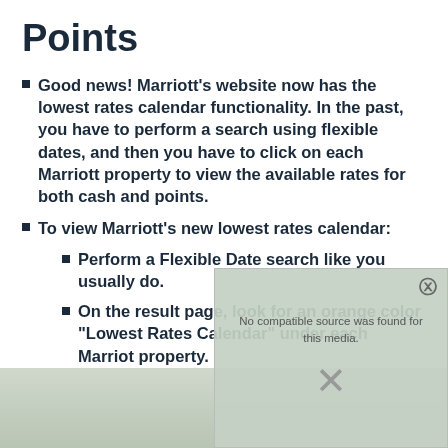Points
Good news! Marriott's website now has the lowest rates calendar functionality. In the past, you have to perform a search using flexible dates, and then you have to click on each Marriott property to view the available rates for both cash and points.
To view Marriott's new lowest rates calendar:
Perform a Flexible Date search like you usually do.
On the result page, look for an orange color "Lowest Rates Calendar" under each Marriot property.
You can access the MARRIOTT website here
[Figure (screenshot): Video overlay with close button showing 'No compatible source was found for this media.' message and an X icon, overlaid on a blurred background image]